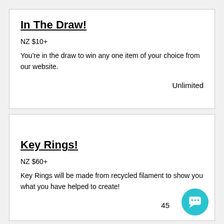In The Draw!
NZ $10+
You're in the draw to win any one item of your choice from our website.
Unlimited
Key Rings!
NZ $60+
Key Rings will be made from recycled filament to show you what you have helped to create!
45